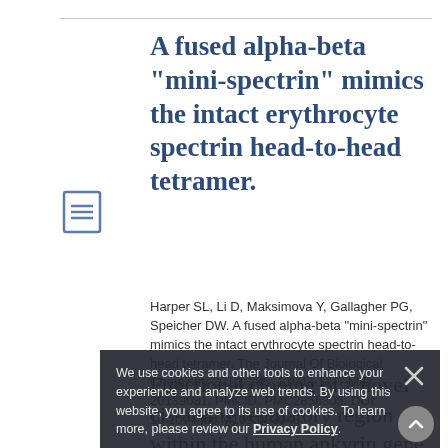A fused alpha-beta "mini-spectrin" mimics the intact erythrocyte spectrin head-to-head tetramer.
Harper SL, Li D, Maksimova Y, Gallagher PG, Speicher DW. A fused alpha-beta "mini-spectrin" mimics the intact erythrocyte spectrin head-to-head tetramer. The Journal Of Biological Chemistry 2010, 285: 11003-12. PMID: 20139081, PMCID: PMC2856305, DOI: 10.1074/jbc.M109.083048.
We use cookies and other tools to enhance your experience and analyze web trends. By using this website, you agree to its use of cookies. To learn more, please review our Privacy Policy.
Functional cloning of a novel cis-acting regulatory region within the human ankyrin gene (ANK-1) promoter.